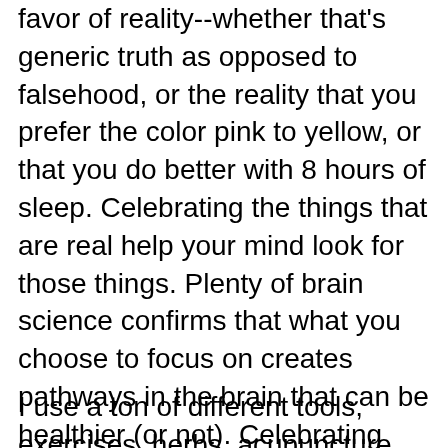favor of reality--whether that's generic truth as opposed to falsehood, or the reality that you prefer the color pink to yellow, or that you do better with 8 hours of sleep. Celebrating the things that are real help your mind look for those things. Plenty of brain science confirms that what you choose to focus on creates pathways in the brain that can be healthier (or not). Celebrating your reality, and looking for the parts that build you up and accepting your ability to change many things that you don't want is a great way to have everything in your life improve--health, sleep, relationships, and just your overall sense of wll-being from one minute to the next.
I use a ton of different tools, exercises, herbs, acupuncture, acupressure, and just getting to know